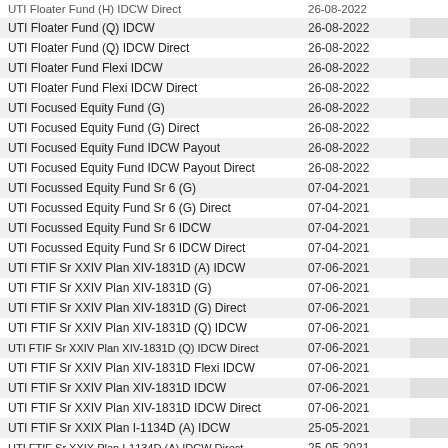| Fund Name | Date |  |
| --- | --- | --- |
| UTI Floater Fund (H) IDCW Direct | 26-08-2022 |  |
| UTI Floater Fund (Q) IDCW | 26-08-2022 |  |
| UTI Floater Fund (Q) IDCW Direct | 26-08-2022 |  |
| UTI Floater Fund Flexi IDCW | 26-08-2022 |  |
| UTI Floater Fund Flexi IDCW Direct | 26-08-2022 |  |
| UTI Focused Equity Fund (G) | 26-08-2022 |  |
| UTI Focused Equity Fund (G) Direct | 26-08-2022 |  |
| UTI Focused Equity Fund IDCW Payout | 26-08-2022 |  |
| UTI Focused Equity Fund IDCW Payout Direct | 26-08-2022 |  |
| UTI Focussed Equity Fund Sr 6 (G) | 07-04-2021 |  |
| UTI Focussed Equity Fund Sr 6 (G) Direct | 07-04-2021 |  |
| UTI Focussed Equity Fund Sr 6 IDCW | 07-04-2021 |  |
| UTI Focussed Equity Fund Sr 6 IDCW Direct | 07-04-2021 |  |
| UTI FTIF Sr XXIV Plan XIV-1831D (A) IDCW | 07-06-2021 |  |
| UTI FTIF Sr XXIV Plan XIV-1831D (G) | 07-06-2021 |  |
| UTI FTIF Sr XXIV Plan XIV-1831D (G) Direct | 07-06-2021 |  |
| UTI FTIF Sr XXIV Plan XIV-1831D (Q) IDCW | 07-06-2021 |  |
| UTI FTIF Sr XXIV Plan XIV-1831D (Q) IDCW Direct | 07-06-2021 |  |
| UTI FTIF Sr XXIV Plan XIV-1831D Flexi IDCW | 07-06-2021 |  |
| UTI FTIF Sr XXIV Plan XIV-1831D IDCW | 07-06-2021 |  |
| UTI FTIF Sr XXIV Plan XIV-1831D IDCW Direct | 07-06-2021 |  |
| UTI FTIF Sr XXIX Plan I-1134D (A) IDCW | 25-05-2021 |  |
| UTI FTIF Sr XXIX Plan I-1134D (A) IDCW Direct | 25-05-2021 |  |
| UTI FTIF Sr XXIX Plan I-1134D (G) | 25-05-2021 |  |